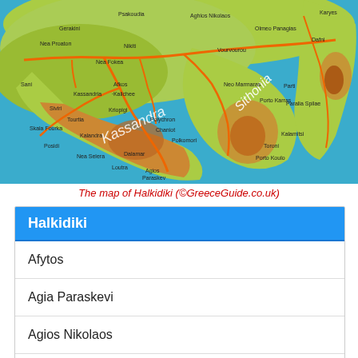[Figure (map): Map of Halkidiki peninsula in Greece, showing three peninsulas: Kassandra, Sithonia, and Athos, with roads, towns, and topographic coloring. Credit: De Griekse Gids / GreeceGuide.co.uk]
The map of Halkidiki (©GreeceGuide.co.uk)
| Halkidiki |
| --- |
| Afytos |
| Agia Paraskevi |
| Agios Nikolaos |
| Ammouliani |
| Arnaia |